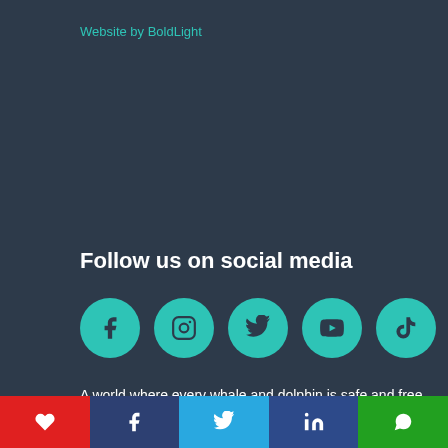Website by BoldLight
Follow us on social media
[Figure (illustration): Five teal circular social media icons in a row: Facebook, Instagram, Twitter, YouTube, TikTok]
A world where every whale and dolphin is safe and free.
Social share bar with icons: heart (red), Facebook (dark blue), Twitter (sky blue), LinkedIn (navy), WhatsApp (green)